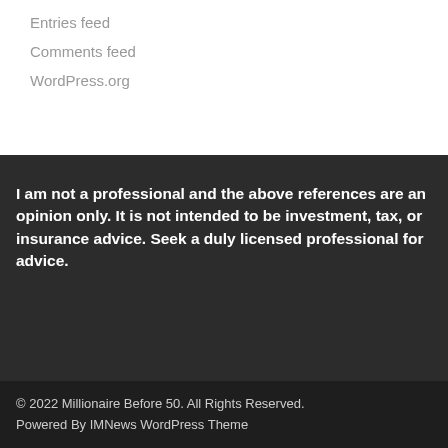Entries feed
Comments feed
WordPress.org
I am not a professional and the above references are an opinion only.  It is not intended to be investment, tax, or insurance advice. Seek a duly licensed professional for advice.
© 2022 Millionaire Before 50. All Rights Reserved. Powered By IMNews WordPress Theme